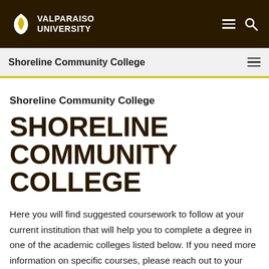[Figure (logo): Valparaiso University logo with navigation bar (dark brown background, white VU flame logo, VALPARAISO UNIVERSITY text, hamburger menu icon and search icon)]
Shoreline Community College
Shoreline Community College
SHORELINE COMMUNITY COLLEGE
Here you will find suggested coursework to follow at your current institution that will help you to complete a degree in one of the academic colleges listed below. If you need more information on specific courses, please reach out to your admission counselor.  These